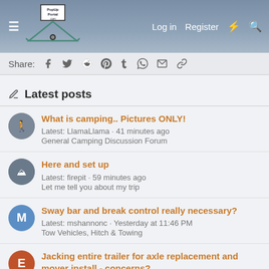PopUpPortal.com — Log in | Register
Share:
Latest posts
What is camping.. Pictures ONLY! Latest: LlamaLlama · 41 minutes ago | General Camping Discussion Forum
Here and set up Latest: firepit · 59 minutes ago | Let me tell you about my trip
Sway bar and break control really necessary? Latest: mshannonc · Yesterday at 11:46 PM | Tow Vehicles, Hitch & Towing
Jacking entire trailer for axle replacement and mover install - concerns? Latest: Erik Walthinsen · Yesterday at 11:16 PM | Tires / Brakes / Bearings / Axles